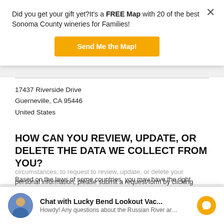Did you get your gift yet?It's a FREE Map with 20 of the best Sonoma County wineries for Families!
Send Me the Map!
17437 Riverside Drive
Guerneville, CA 95446
United States
HOW CAN YOU REVIEW, UPDATE, OR DELETE THE DATA WE COLLECT FROM YOU?
Based on the laws of some countries, you may have the right... circumstances, to request to review, update, or delete your personal information, please submit a request form by clicking
Chat with Lucky Bend Lookout Vac...
Howdy! Any questions about the Russian River ar…